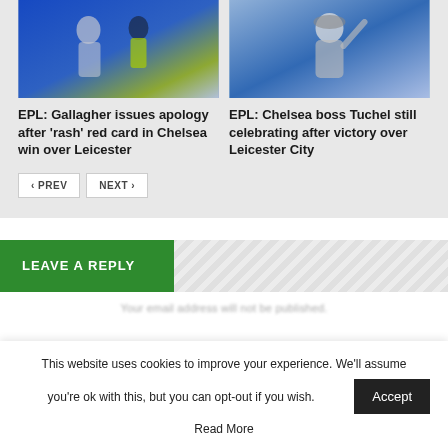[Figure (photo): Chelsea player in blue kit gesturing, with referee in yellow]
[Figure (photo): Chelsea manager Tuchel in grey jacket waving and smiling]
EPL: Gallagher issues apology after 'rash' red card in Chelsea win over Leicester
EPL: Chelsea boss Tuchel still celebrating after victory over Leicester City
PREV
NEXT
LEAVE A REPLY
This website uses cookies to improve your experience. We'll assume you're ok with this, but you can opt-out if you wish.
Accept
Read More